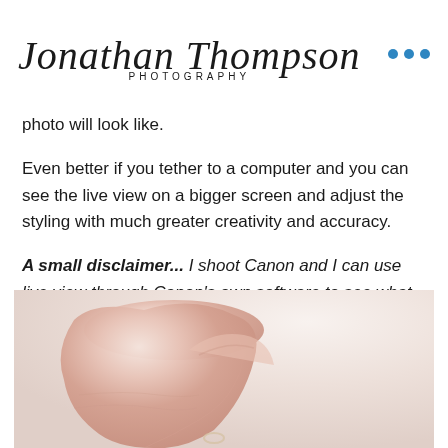Jonathan Thompson Photography
photo will look like.
Even better if you tether to a computer and you can see the live view on a bigger screen and adjust the styling with much greater creativity and accuracy.
A small disclaimer... I shoot Canon and I can use live view through Canon's own software to see what the camera sees on my laptop as well as control the entire camera remotely. Not sure, at this very second, how you do that if you own an alternative brand of camera
[Figure (photo): Close-up photograph of a person's hand/wrist against a light background]